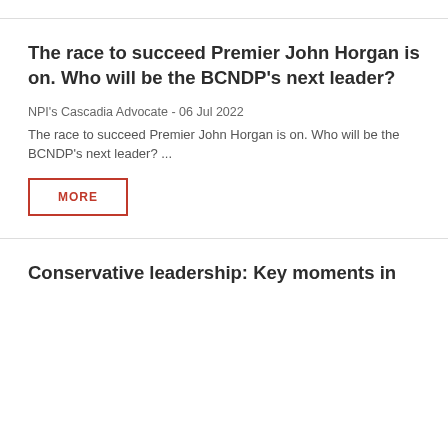The race to succeed Premier John Horgan is on. Who will be the BCNDP's next leader?
NPI's Cascadia Advocate - 06 Jul 2022
The race to succeed Premier John Horgan is on. Who will be the BCNDP's next leader?  ...
MORE
Conservative leadership: Key moments in